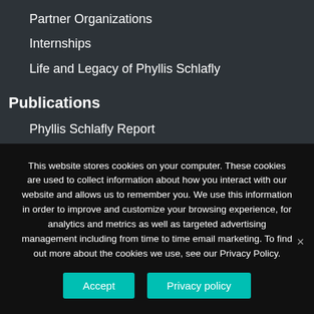Partner Organizations
Internships
Life and Legacy of Phyllis Schlafly
Publications
Phyllis Schlafly Report
Weekly Column
Daily Radio Commentaries
Pro America Report Radio Show
Education Reporter
This website stores cookies on your computer. These cookies are used to collect information about how you interact with our website and allows us to remember you. We use this information in order to improve and customize your browsing experience, for analytics and metrics as well as targeted advertising management including from time to time email marketing. To find out more about the cookies we use, see our Privacy Policy.
Accept
Privacy policy